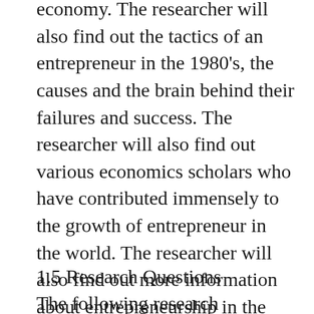economy. The researcher will also find out the tactics of an entrepreneur in the 1980's, the causes and the brain behind their failures and success. The researcher will also find out various economics scholars who have contributed immensely to the growth of entrepreneur in the world. The researcher will also find out more information about entrepreneurship in the country. However, the study of the researcher covers the purpose of entrepreneur in the country particularly Enugu State.
1.5 Research Questions
The following research questions were